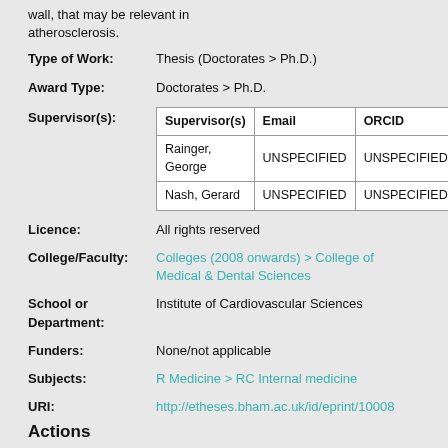wall, that may be relevant in atherosclerosis.
| Type of Work: | Thesis (Doctorates > Ph.D.) |
| --- | --- |
| Award Type: | Doctorates > Ph.D. |
| --- | --- |
| Supervisor(s) | Email | ORCID |
| --- | --- | --- |
| Rainger, George | UNSPECIFIED | UNSPECIFIED |
| Nash, Gerard | UNSPECIFIED | UNSPECIFIED |
Licence: All rights reserved
College/Faculty: Colleges (2008 onwards) > College of Medical & Dental Sciences
School or Department: Institute of Cardiovascular Sciences
Funders: None/not applicable
Subjects: R Medicine > RC Internal medicine
URI: http://etheses.bham.ac.uk/id/eprint/10008
Actions